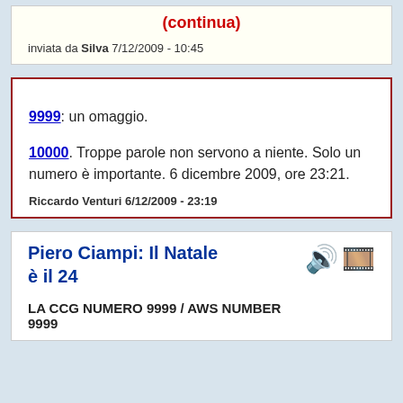(continua)
inviata da Silva 7/12/2009 - 10:45
9999: un omaggio.

10000. Troppe parole non servono a niente. Solo un numero è importante. 6 dicembre 2009, ore 23:21.
Riccardo Venturi 6/12/2009 - 23:19
Piero Ciampi: Il Natale è il 24
LA CCG NUMERO 9999 / AWS NUMBER 9999